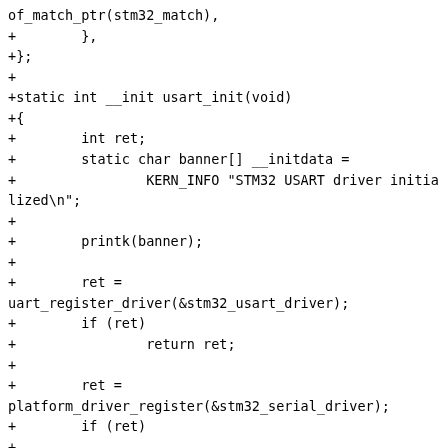of_match_ptr(stm32_match),
+        },
+};
+
+static int __init usart_init(void)
+{
+        int ret;
+        static char banner[] __initdata =
+                KERN_INFO "STM32 USART driver initialized\n";
+
+        printk(banner);
+
+        ret =
uart_register_driver(&stm32_usart_driver);
+        if (ret)
+                return ret;
+
+        ret =
platform_driver_register(&stm32_serial_driver);
+        if (ret)
+
uart_unregister_driver(&stm32_usart_driver);
+
+        return ret;
+}
+
+static void __exit usart_exit(void)
+{
+